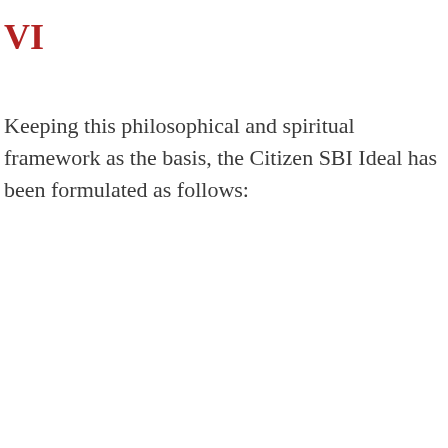VI
Keeping this philosophical and spiritual framework as the basis, the Citizen SBI Ideal has been formulated as follows: